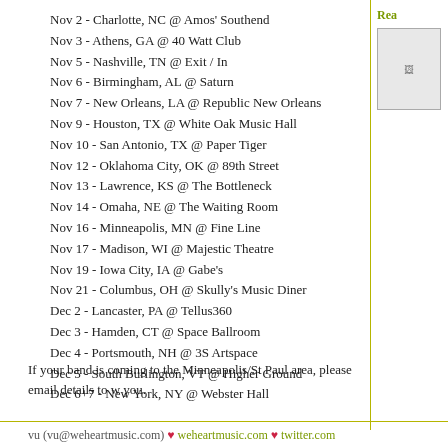Nov 2 - Charlotte, NC @ Amos' Southend
Nov 3 - Athens, GA @ 40 Watt Club
Nov 5 - Nashville, TN @ Exit / In
Nov 6 - Birmingham, AL @ Saturn
Nov 7 - New Orleans, LA @ Republic New Orleans
Nov 9 - Houston, TX @ White Oak Music Hall
Nov 10 - San Antonio, TX @ Paper Tiger
Nov 12 - Oklahoma City, OK @ 89th Street
Nov 13 - Lawrence, KS @ The Bottleneck
Nov 14 - Omaha, NE @ The Waiting Room
Nov 16 - Minneapolis, MN @ Fine Line
Nov 17 - Madison, WI @ Majestic Theatre
Nov 19 - Iowa City, IA @ Gabe's
Nov 21 - Columbus, OH @ Skully's Music Diner
Dec 2 - Lancaster, PA @ Tellus360
Dec 3 - Hamden, CT @ Space Ballroom
Dec 4 - Portsmouth, NH @ 3S Artspace
Dec 5 - South Burlington, VT @ Higher Ground
Dec 6+7 - New York, NY @ Webster Hall
If your band is coming to the Minneapolis/St Paul area, please email details to w you.
vu (vu@weheartmusic.com) ♥ weheartmusic.com ♥ twitter.com